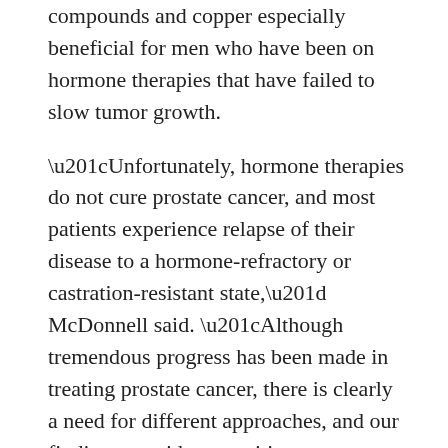compounds and copper especially beneficial for men who have been on hormone therapies that have failed to slow tumor growth.
“Unfortunately, hormone therapies do not cure prostate cancer, and most patients experience relapse of their disease to a hormone-refractory or castration-resistant state,” McDonnell said. “Although tremendous progress has been made in treating prostate cancer, there is clearly a need for different approaches, and our findings provide an exciting new avenue to explore.”
McDonnell said clinical trials of the combination therapy are planned in upcoming months.
Andrew Armstrong, M.D., associate professor of medicine, was involved with a recent study at Duke testing disulfiram in men with advanced prostate cancer.
“In the results, we have seen a significant...